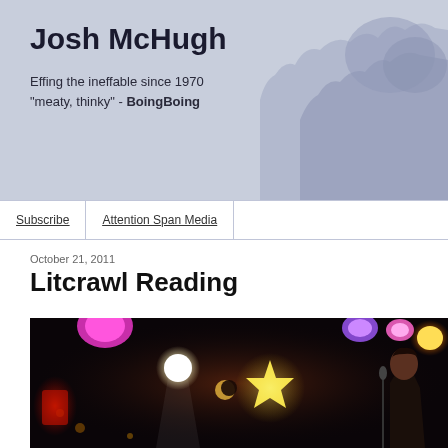Josh McHugh
Effing the ineffable since 1970
"meaty, thinky" - BoingBoing
Subscribe | Attention Span Media
October 21, 2011
Litcrawl Reading
[Figure (photo): Concert or reading event photo showing colorful stage lights including pink, purple, orange spotlights, a glowing star decoration, and a person at a microphone on the right side against a dark background]